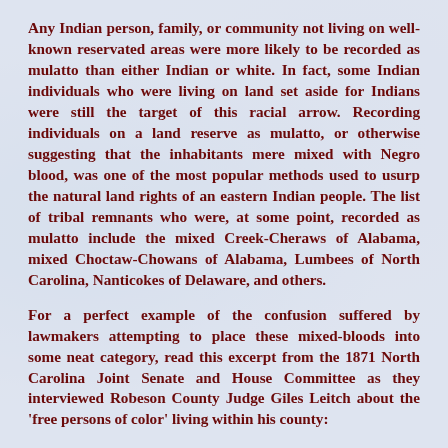Any Indian person, family, or community not living on well-known reservated areas were more likely to be recorded as mulatto than either Indian or white. In fact, some Indian individuals who were living on land set aside for Indians were still the target of this racial arrow. Recording individuals on a land reserve as mulatto, or otherwise suggesting that the inhabitants mere mixed with Negro blood, was one of the most popular methods used to usurp the natural land rights of an eastern Indian people. The list of tribal remnants who were, at some point, recorded as mulatto include the mixed Creek-Cheraws of Alabama, mixed Choctaw-Chowans of Alabama, Lumbees of North Carolina, Nanticokes of Delaware, and others.
For a perfect example of the confusion suffered by lawmakers attempting to place these mixed-bloods into some neat category, read this excerpt from the 1871 North Carolina Joint Senate and House Committee as they interviewed Robeson County Judge Giles Leitch about the 'free persons of color' living within his county: